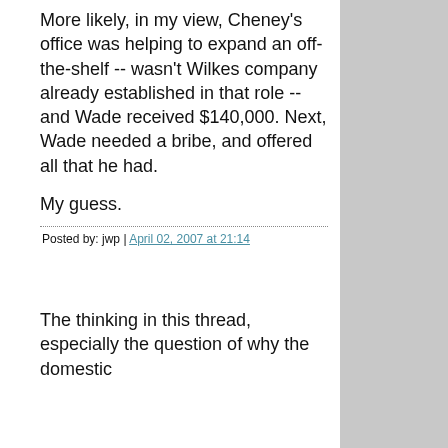More likely, in my view, Cheney's office was helping to expand an off-the-shelf -- wasn't Wilkes company already established in that role -- and Wade received $140,000. Next, Wade needed a bribe, and offered all that he had.
My guess.
Posted by: jwp | April 02, 2007 at 21:14
The thinking in this thread, especially the question of why the domestic